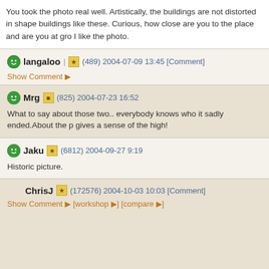You took the photo real well. Artistically, the buildings are not distorted in shape buildings like these. Curious, how close are you to the place and are you at gro I like the photo.
langaloo (489) 2004-07-09 13:45 [Comment]
Show Comment ▶
Mrg (825) 2004-07-23 16:52
What to say about those two.. everybody knows who it sadly ended.About the p gives a sense of the high!
Jaku (6812) 2004-09-27 9:19
Historic picture.
ChrisJ (172576) 2004-10-03 10:03 [Comment]
Show Comment ▶ [workshop ▶] [compare ▶]